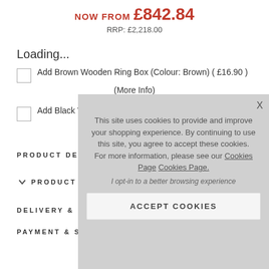NOW FROM £842.84
RRP: £2,218.00
Loading...
Add Brown Wooden Ring Box (Colour: Brown) ( £16.90 )
(More Info)
Add Black W...
PRODUCT DETA...
PRODUCT REVI...
DELIVERY & RE...
PAYMENT & SECURITY
[Figure (screenshot): Cookie consent modal overlay with gray background. Text reads: 'This site uses cookies to provide and improve your shopping experience. By continuing to use this site, you agree to accept these cookies. For more information, please see our Cookies Page Cookies Page.' Below: 'I opt-in to a better browsing experience'. Button: 'ACCEPT COOKIES'. X close button in top right.]